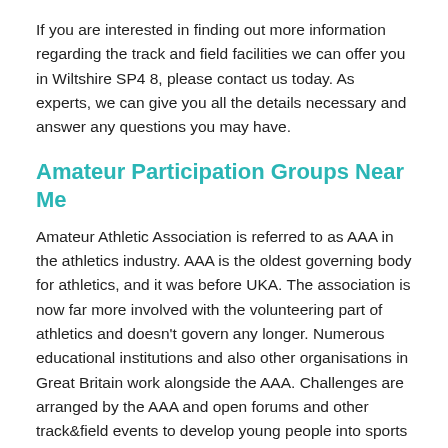If you are interested in finding out more information regarding the track and field facilities we can offer you in Wiltshire SP4 8, please contact us today. As experts, we can give you all the details necessary and answer any questions you may have.
Amateur Participation Groups Near Me
Amateur Athletic Association is referred to as AAA in the athletics industry. AAA is the oldest governing body for athletics, and it was before UKA. The association is now far more involved with the volunteering part of athletics and doesn't govern any longer. Numerous educational institutions and also other organisations in Great Britain work alongside the AAA. Challenges are arranged by the AAA and open forums and other track&field events to develop young people into sports athletes. These kinds of challenges assist in developing youngsters for upcoming athletics careers.
Another duty which is given to the AAA is guarding the history of the particular sport. Elite sports athletes are presented with valuable and historical medals and trophies by the Amateur Athletic Association. The primary objective of the Amateur Athletic